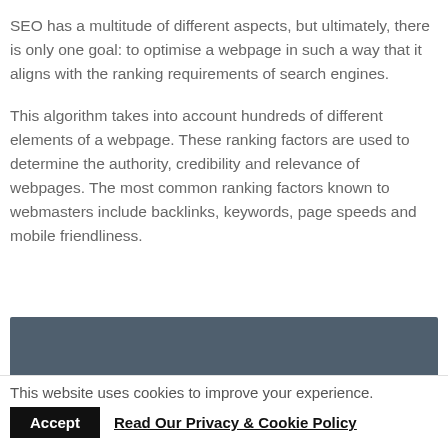SEO has a multitude of different aspects, but ultimately, there is only one goal: to optimise a webpage in such a way that it aligns with the ranking requirements of search engines.
This algorithm takes into account hundreds of different elements of a webpage. These ranking factors are used to determine the authority, credibility and relevance of webpages. The most common ranking factors known to webmasters include backlinks, keywords, page speeds and mobile friendliness.
[Figure (screenshot): Dark grey/blue video or image thumbnail with a partial circular play button visible at the bottom center.]
This website uses cookies to improve your experience.
Accept   Read Our Privacy & Cookie Policy